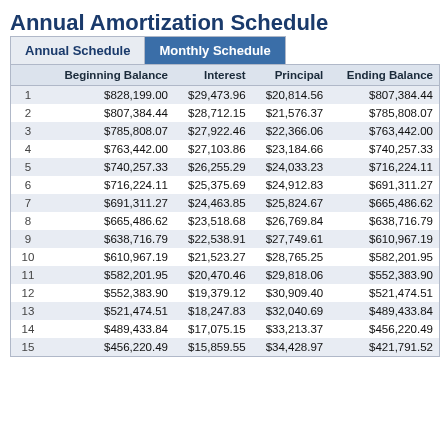Annual Amortization Schedule
|  | Beginning Balance | Interest | Principal | Ending Balance |
| --- | --- | --- | --- | --- |
| 1 | $828,199.00 | $29,473.96 | $20,814.56 | $807,384.44 |
| 2 | $807,384.44 | $28,712.15 | $21,576.37 | $785,808.07 |
| 3 | $785,808.07 | $27,922.46 | $22,366.06 | $763,442.00 |
| 4 | $763,442.00 | $27,103.86 | $23,184.66 | $740,257.33 |
| 5 | $740,257.33 | $26,255.29 | $24,033.23 | $716,224.11 |
| 6 | $716,224.11 | $25,375.69 | $24,912.83 | $691,311.27 |
| 7 | $691,311.27 | $24,463.85 | $25,824.67 | $665,486.62 |
| 8 | $665,486.62 | $23,518.68 | $26,769.84 | $638,716.79 |
| 9 | $638,716.79 | $22,538.91 | $27,749.61 | $610,967.19 |
| 10 | $610,967.19 | $21,523.27 | $28,765.25 | $582,201.95 |
| 11 | $582,201.95 | $20,470.46 | $29,818.06 | $552,383.90 |
| 12 | $552,383.90 | $19,379.12 | $30,909.40 | $521,474.51 |
| 13 | $521,474.51 | $18,247.83 | $32,040.69 | $489,433.84 |
| 14 | $489,433.84 | $17,075.15 | $33,213.37 | $456,220.49 |
| 15 | $456,220.49 | $15,859.55 | $34,428.97 | $421,791.52 |